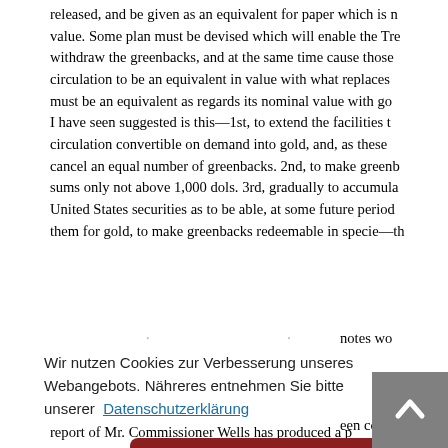released, and be given as an equivalent for paper which is no longer of value. Some plan must be devised which will enable the Treasury to withdraw the greenbacks, and at the same time cause those remaining in circulation to be an equivalent in value with what replaces them. There must be an equivalent as regards its nominal value with gold— The plan I have seen suggested is this—1st, to extend the facilities to a bank circulation convertible on demand into gold, and, as these are issued, to cancel an equal number of greenbacks. 2nd, to make greenbacks legal for sums only not above 1,000 dols. 3rd, gradually to accumulate so much United States securities as to be able, at some future period, by selling them for gold, to make greenbacks redeemable in specie—th
notes wo
/ment in
between t
f a resum
een contr
Wir nutzen Cookies zur Verbesserung unseres Webangebots. Nähreres entnehmen Sie bitte unserer Datenschutzerklärung
Einverstanden
report of Mr. Commissioner Wells has produced a p d